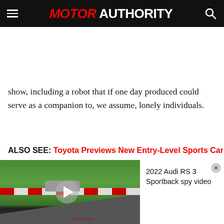MOTOR AUTHORITY
show, including a robot that if one day produced could serve as a companion to, we assume, lonely individuals.
ALSO SEE: Toyota Previews New Entry-Level Sports Car With S-
[Figure (screenshot): Video player showing 2022 Audi RS 3 Sportback spy video at Nurburgring racetrack, with play button overlay and video info panel on right side]